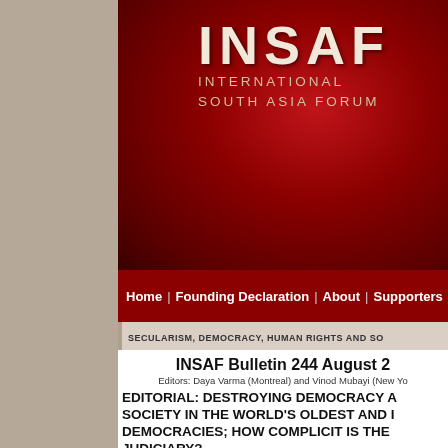[Figure (logo): INSAF International South Asia Forum logo with red gradient background]
Home | Founding Declaration | About | Supporters | Co...
SECULARISM, DEMOCRACY, HUMAN RIGHTS AND SO...
INSAF Bulletin 244 August 2...
Editors: Daya Varma (Montreal) and Vinod Mubayi (New Yo...
EDITORIAL: DESTROYING DEMOCRACY A... SOCIETY IN THE WORLD'S OLDEST AND I... DEMOCRACIES; HOW COMPLICIT IS THE... JUDICIARY?
Vinod Mubayi
It is a trope of democratic politics that toleration of dissenting opinions and th... broad vision of societal welfare are a hallmark of democracy. These goals a...